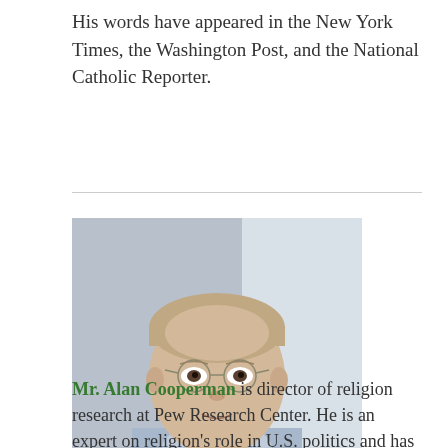His words have appeared in the New York Times, the Washington Post, and the National Catholic Reporter.
[Figure (photo): Professional headshot of Mr. Alan Cooperman, a middle-aged man with glasses, wearing a light blue shirt and red tie, against a blurred light background.]
Mr. Alan Cooperman is director of religion research at Pew Research Center. He is an expert on religion's role in U.S. politics and has reported on religion in...